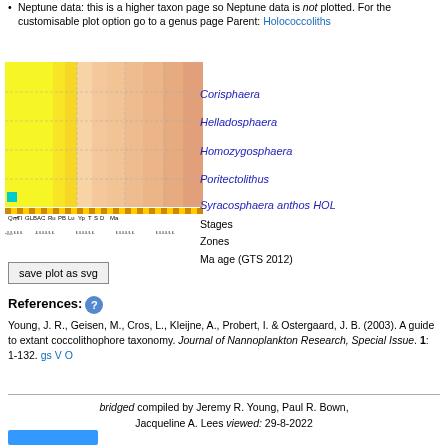Neptune data: this is a higher taxon page so Neptune data is not plotted. For the customisable plot option go to a genus page Parent: Holococcoliths
[Figure (other): Stratigraphic range chart showing colored bars for Corisphaera, Helladosphaera, Homozygosphaera, Poritectolithus, and Syracosphaera anthos HOL across geological time stages. Yellow and orange/peach gradient color scheme. Bottom axis shows geological stage abbreviations, zones bar, and Ma age (GTS 2012).]
Stages / Zones / Ma age (GTS 2012)
save plot as svg
References:
Young, J. R., Geisen, M., Cros, L., Kleijne, A., Probert, I. & Ostergaard, J. B. (2003). A guide to extant coccolithophore taxonomy. Journal of Nannoplankton Research, Special Issue. 1: 1-132. gs V O
bridged compiled by Jeremy R. Young, Paul R. Bown, Jacqueline A. Lees viewed: 29-8-2022